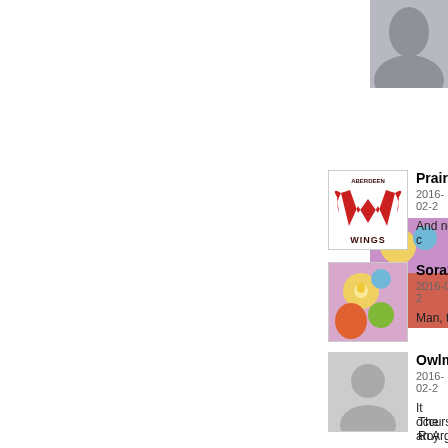[Figure (photo): Partial avatar image cropped at top right, appears to be a grey/dark image, cut off at page edge]
[Figure (photo): Second partial avatar image on right side, partially visible, colorful illustration]
[Figure (logo): Aberdeen Wings hockey team logo - red W with wings and text WINGS below]
Prairie
2016-02-2
And no c
[Figure (illustration): Colorful illustrated avatar showing an animated character]
Sora24
2016-02-2
Man, the
[Figure (photo): Default grey placeholder avatar silhouette]
Owlmi
2016-02-2
It occurs an Argo
The Roy